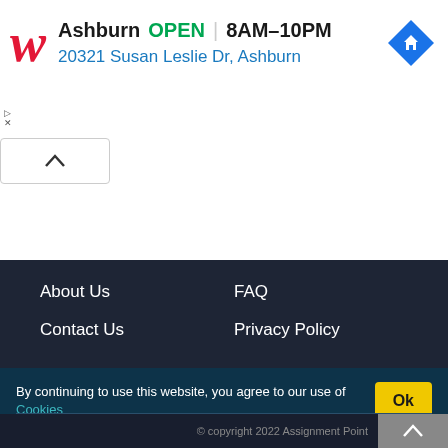[Figure (screenshot): Walgreens store ad banner showing location: Ashburn, OPEN, 8AM-10PM, 20321 Susan Leslie Dr, Ashburn, with navigation icon]
About Us
FAQ
Contact Us
Privacy Policy
By continuing to use this website, you agree to our use of Cookies
© copyright 2022 Assignment Point